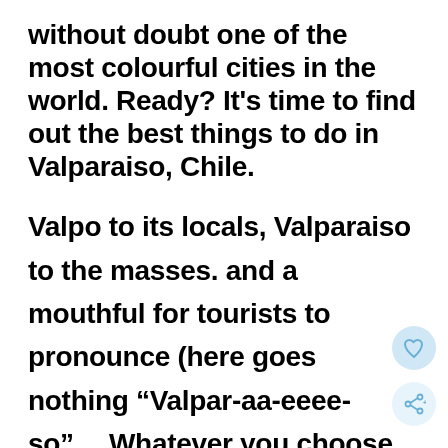without doubt one of the most colourful cities in the world. Ready? It’s time to find out the best things to do in Valparaiso, Chile.
Valpo to its locals, Valparaiso to the masses. and a mouthful for tourists to pronounce (here goes nothing “Valpar-aa-eeee-so”)… Whatever you choose to call it, you’re guaranteed to come away